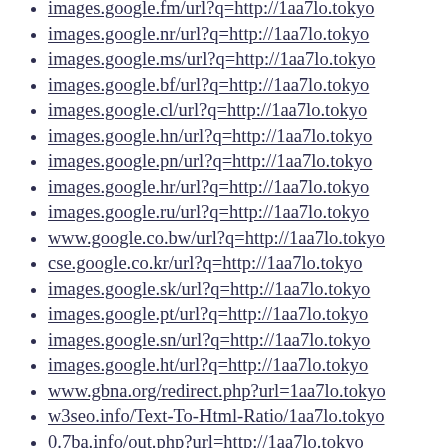images.google.fm/url?q=http://1aa7lo.tokyo
images.google.nr/url?q=http://1aa7lo.tokyo
images.google.ms/url?q=http://1aa7lo.tokyo
images.google.bf/url?q=http://1aa7lo.tokyo
images.google.cl/url?q=http://1aa7lo.tokyo
images.google.hn/url?q=http://1aa7lo.tokyo
images.google.pn/url?q=http://1aa7lo.tokyo
images.google.hr/url?q=http://1aa7lo.tokyo
images.google.ru/url?q=http://1aa7lo.tokyo
www.google.co.bw/url?q=http://1aa7lo.tokyo
cse.google.co.kr/url?q=http://1aa7lo.tokyo
images.google.sk/url?q=http://1aa7lo.tokyo
images.google.pt/url?q=http://1aa7lo.tokyo
images.google.sn/url?q=http://1aa7lo.tokyo
images.google.ht/url?q=http://1aa7lo.tokyo
www.gbna.org/redirect.php?url=1aa7lo.tokyo
w3seo.info/Text-To-Html-Ratio/1aa7lo.tokyo
0.7ba.info/out.php?url=http://1aa7lo.tokyo